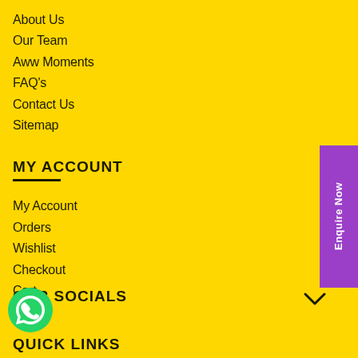About Us
Our Team
Aww Moments
FAQ's
Contact Us
Sitemap
MY ACCOUNT
My Account
Orders
Wishlist
Checkout
Cart
OUR SOCIALS
QUICK LINKS
[Figure (logo): WhatsApp icon button, green circle with phone handset]
Enquire Now